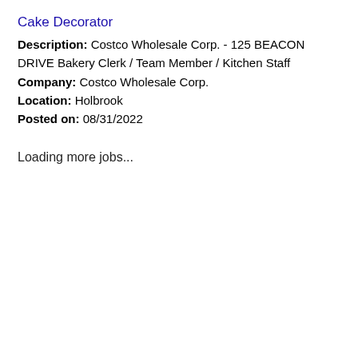Cake Decorator
Description: Costco Wholesale Corp. - 125 BEACON DRIVE Bakery Clerk / Team Member / Kitchen Staff
Company: Costco Wholesale Corp.
Location: Holbrook
Posted on: 08/31/2022
Loading more jobs...